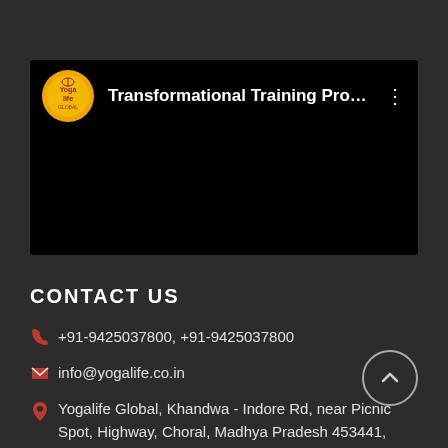[Figure (screenshot): Black video card with Yogalife logo and title 'Transformational Training Progra...' with three-dot menu icon]
CONTACT US
+91-9425037800, +91-9425037800
info@yogalife.co.in
Yogalife Global, Khandwa - Indore Rd, near Picnic Spot, Highway, Choral, Madhya Pradesh 453441, India